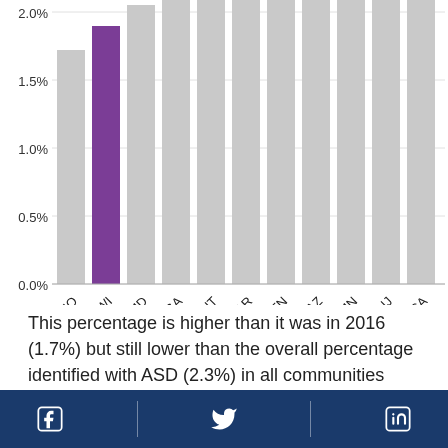[Figure (bar-chart): ASD prevalence by state (2018)]
This percentage is higher than it was in 2016 (1.7%) but still lower than the overall percentage identified with ASD (2.3%) in all communities where CDC tracked ASD among 8-year-olds in 2018.
Social media icons: Facebook, Twitter, LinkedIn